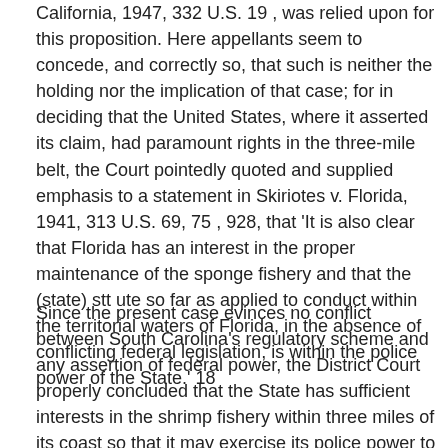California, 1947, 332 U.S. 19 , was relied upon for this proposition. Here appellants seem to concede, and correctly so, that such is neither the holding nor the implication of that case; for in deciding that the United States, where it asserted its claim, had paramount rights in the three-mile belt, the Court pointedly quoted and supplied emphasis to a statement in Skiriotes v. Florida, 1941, 313 U.S. 69, 75 , 928, that 'It is also clear that Florida has an interest in the proper maintenance of the sponge fishery and that the (state) stt ute so far as applied to conduct within the territorial waters of Florida, in the absence of conflicting federal legislation, is within the police power of the State.' 18
Since the present case evinces no conflict between South Carolina's regulatory scheme and any assertion of federal power, the District Court properly concluded that the State has sufficient interests in the shrimp fishery within three miles of its coast so that it may exercise its police power to